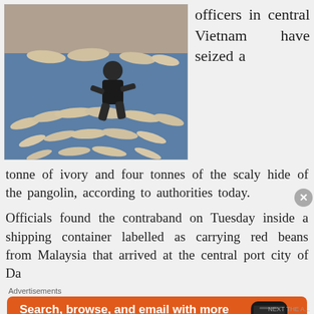[Figure (photo): Photo of ivory tusks and pangolin scales laid out on blue tarpaulin with a person crouching among them]
officers in central Vietnam have seized a tonne of ivory and four tonnes of the scaly hide of the pangolin, according to authorities today.
Officials found the contraband on Tuesday inside a shipping container labelled as carrying red beans from Malaysia that arrived at the central port city of Da
Advertisements
[Figure (infographic): DuckDuckGo advertisement: Search, browse, and email with more privacy. All in One Free App. Shows phone with DuckDuckGo logo.]